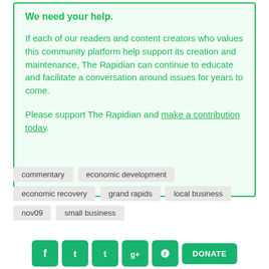We need your help.
If each of our readers and content creators who values this community platform help support its creation and maintenance, The Rapidian can continue to educate and facilitate a conversation around issues for years to come.
Please support The Rapidian and make a contribution today.
commentary
economic development
economic recovery
grand rapids
local business
nov09
small business
[Figure (infographic): Social media sharing icons for Facebook, Twitter, Tumblr, Google+, Reddit, and a green DONATE button]